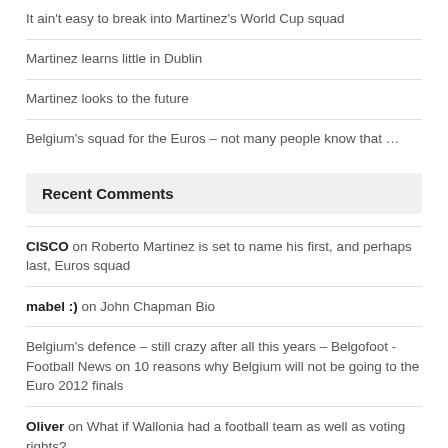It ain't easy to break into Martinez's World Cup squad
Martinez learns little in Dublin
Martinez looks to the future
Belgium's squad for the Euros – not many people know that …
Recent Comments
CISCO on Roberto Martinez is set to name his first, and perhaps last, Euros squad
mabel :) on John Chapman Bio
Belgium's defence – still crazy after all this years – Belgofoot - Football News on 10 reasons why Belgium will not be going to the Euro 2012 finals
Oliver on What if Wallonia had a football team as well as voting rights?
Mabel snail on John Chapman Bio